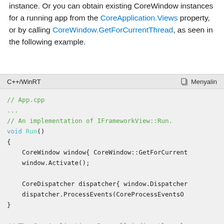instance. Or you can obtain existing CoreWindow instances for a running app from the CoreApplication.Views property, or by calling CoreWindow.GetForCurrentThread, as seen in the following example.
[Figure (screenshot): A C++/WinRT code block showing App.cpp with IFrameworkView::Run implementation. Contains comments (green), keywords (blue), and code (black) on a light gray background.]